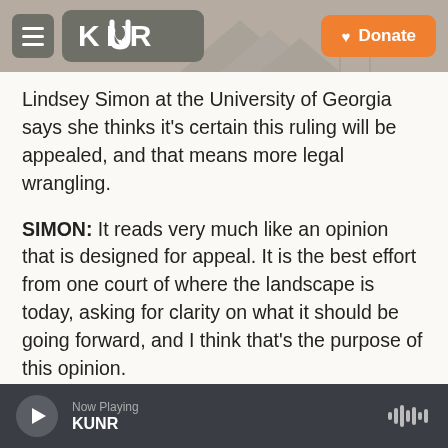KUNR | Donate
Lindsey Simon at the University of Georgia says she thinks it's certain this ruling will be appealed, and that means more legal wrangling.
SIMON: It reads very much like an opinion that is designed for appeal. It is the best effort from one court of where the landscape is today, asking for clarity on what it should be going forward, and I think that's the purpose of this opinion.
MANN: So this legal fight over Purdue Pharma and the role played by the Sacklers in the opioid crisis, it's not over. Legal experts have told me, Audie, that
Now Playing KUNR